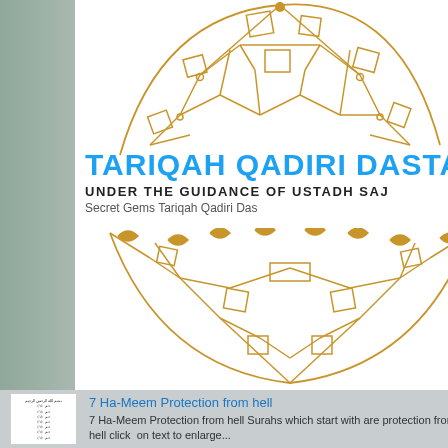[Figure (logo): Tariqah Qadiri Dastag... logo with golden geometric globe/dome illustration, blue text 'TARIQAH QADIRI DASTA', black bold text 'UNDER THE GUIDANCE OF USTADH SAJ', gray text 'Secret Gems Tariqah Qadiri Das', and bottom half of golden geometric globe]
7 Ha-Meem Protection from hell
7 Ha-Meem Protection from hell Surahs which start with are protection from hell click on text to enlarge...